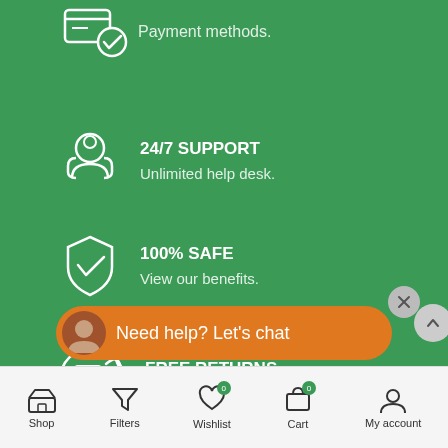[Figure (screenshot): Mobile e-commerce app screenshot showing feature list on green background with payment, support, safety, and returns icons, plus chat widget and bottom navigation bar]
Payment methods.
24/7 SUPPORT
Unlimited help desk.
100% SAFE
View our benefits.
FREE RETURNS
Track or cancel orders.
Need help? Let's chat
Shop  Filters  Wishlist  Cart  My account